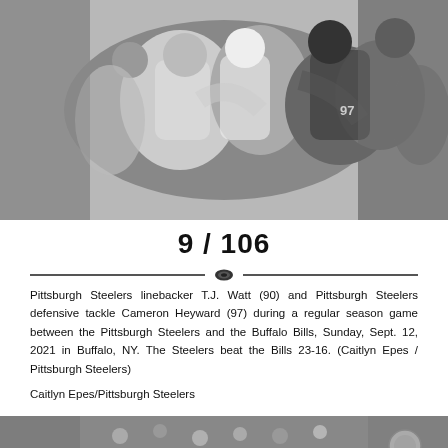[Figure (photo): Black and white photo of Pittsburgh Steelers linebacker T.J. Watt (90) and defensive tackle Cameron Heyward (97) during a regular season game against the Buffalo Bills, players colliding on field]
9 / 106
Pittsburgh Steelers linebacker T.J. Watt (90) and Pittsburgh Steelers defensive tackle Cameron Heyward (97) during a regular season game between the Pittsburgh Steelers and the Buffalo Bills, Sunday, Sept. 12, 2021 in Buffalo, NY. The Steelers beat the Bills 23-16. (Caitlyn Epes / Pittsburgh Steelers)
Caitlyn Epes/Pittsburgh Steelers
[Figure (photo): Black and white photo of a Pittsburgh Steelers game, partially visible at bottom of page]